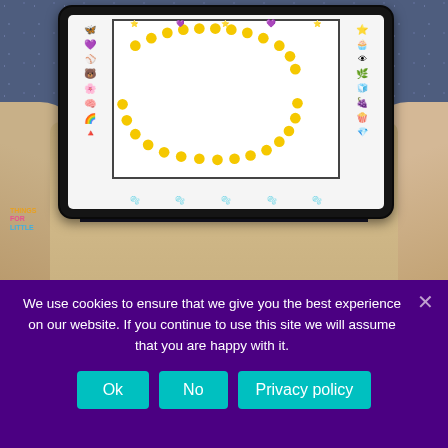[Figure (photo): Person holding a tablet showing a decorative digital activity screen with emoji-style icons and a yellow dotted frame border, set against a dark speckled background]
If you prefer a digital option, there are 2 Seesaw activities and 2 Google Classroom
We use cookies to ensure that we give you the best experience on our website. If you continue to use this site we will assume that you are happy with it.
Ok
No
Privacy policy